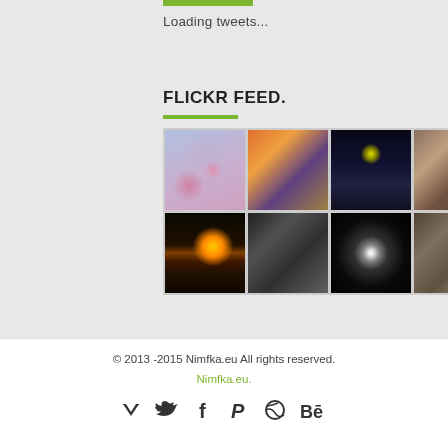Loading tweets...
FLICKR FEED.
[Figure (photo): Grid of 8 Flickr photo thumbnails: row 1 - pink blossoms/sky, colorful flower festival, dark night streetscape, portrait of bearded man; row 2 - sunset over fields, black and white cats/street, dark spotlight scene, textured bark/tree]
© 2013 -2015 Nimfka.eu All rights reserved. Nimfka.eu.